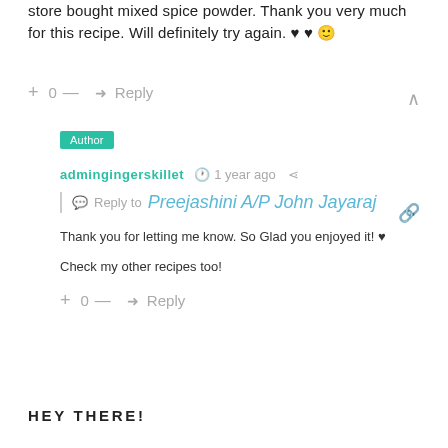store bought mixed spice powder. Thank you very much for this recipe. Will definitely try again. ♥ ♥ 🙂
+ 0 — ➜ Reply
Author
admingingerskillet  🕐 1 year ago  ⋖
Reply to Preejashini A/P John Jayaraj
Thank you for letting me know. So Glad you enjoyed it! ♥
Check my other recipes too!
+ 0 — ➜ Reply
HEY THERE!